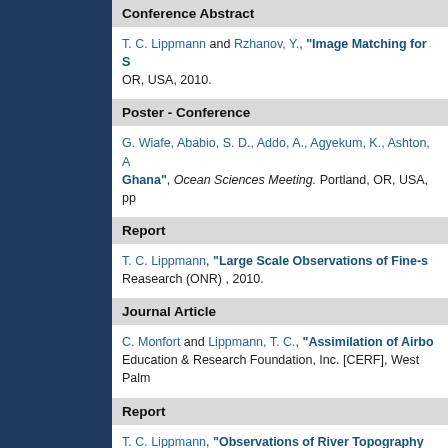Conference Abstract
T. C. Lippmann and Rzhanov, Y., "Image Matching for S... OR, USA, 2010.
Poster - Conference
G. Wiafe, Ababio, S. D., Addo, A., Agyekum, K., Ashton, A... "Ghana", Ocean Sciences Meeting. Portland, OR, USA, pp...
Report
T. C. Lippmann, "Large Scale Observations of Fine-s... Reasearch (ONR) , 2010.
Journal Article
C. Monfort and Lippmann, T. C., "Assimilation of Airbo... Education & Research Foundation, Inc. [CERF], West Palm...
Report
T. C. Lippmann, "Observations of River Topography...